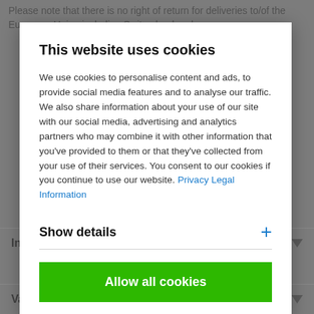Please note that there is no right of return for deliveries to/of the European Union including Switzerland and...
This website uses cookies
We use cookies to personalise content and ads, to provide social media features and to analyse our traffic. We also share information about your use of our site with our social media, advertising and analytics partners who may combine it with other information that you've provided to them or that they've collected from your use of their services. You consent to our cookies if you continue to use our website. Privacy Legal Information
Show details
Allow all cookies
International
Various payment options